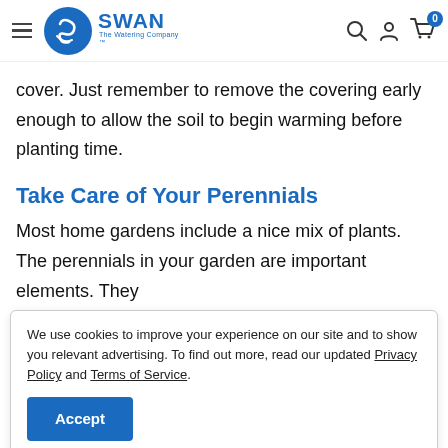SWAN The Watering Company
cover. Just remember to remove the covering early enough to allow the soil to begin warming before planting time.
Take Care of Your Perennials
Most home gardens include a nice mix of plants. The perennials in your garden are important elements. They
We use cookies to improve your experience on our site and to show you relevant advertising. To find out more, read our updated Privacy Policy and Terms of Service. Accept
these plants for any sign of disease. The presence of